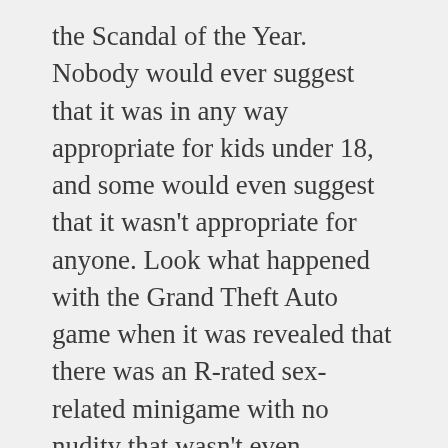the Scandal of the Year. Nobody would ever suggest that it was in any way appropriate for kids under 18, and some would even suggest that it wasn't appropriate for anyone. Look what happened with the Grand Theft Auto game when it was revealed that there was an R-rated sex-related minigame with no nudity that wasn't even accessible without hacking.
And yet, in that very same game, shooting people and running them